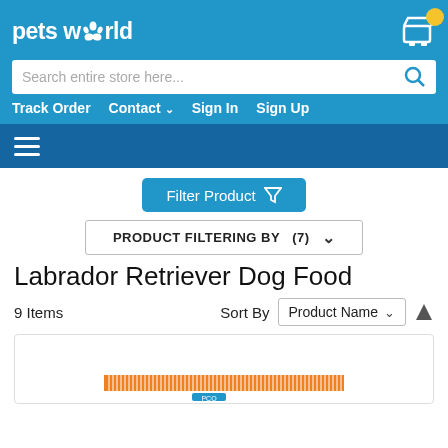petsworld
Search entire store here...
Track Order  Contact  Sign In  Sign Up
[Figure (screenshot): Hamburger menu icon (three white horizontal lines) on dark blue background]
Filter Product
PRODUCT FILTERING BY (7)
Labrador Retriever Dog Food
9 Items  Sort By  Product Name
[Figure (photo): Partial product image showing top of a pet food bag with orange barcode stripe]